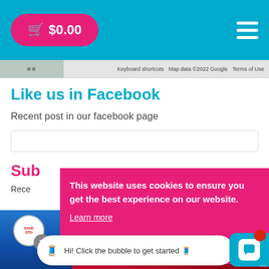$0.00
[Figure (screenshot): Map bottom bar with Keyboard shortcuts, Map data ©2022 Google, Terms of Use]
Like us in Facebook
Recent post in our facebook page
Sub
Rece
[Figure (photo): Product images row at bottom]
This website uses cookies to ensure you get the best experience on our website.
Learn more
Hi! Click the bubble to get started 🧵